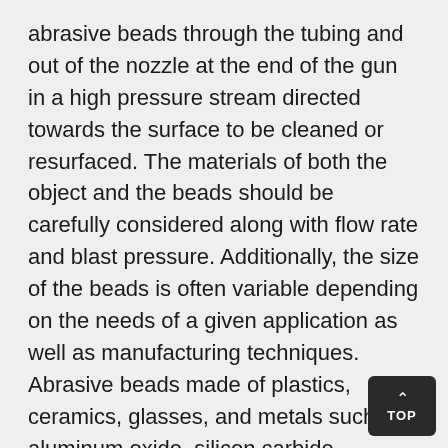abrasive beads through the tubing and out of the nozzle at the end of the gun in a high pressure stream directed towards the surface to be cleaned or resurfaced. The materials of both the object and the beads should be carefully considered along with flow rate and blast pressure. Additionally, the size of the beads is often variable depending on the needs of a given application as well as manufacturing techniques. Abrasive beads made of plastics, ceramics, glasses, and metals such as aluminum oxide, silicon carbide, acrylics, aluminum, brass, and bronze can be produced in a number of ways. Common processes which produce the spherical implements used in shot peening equipment include slip casting, pressing, injection molding, extrusion,